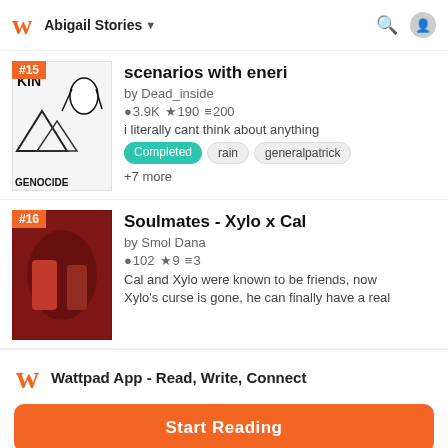Abigail Stories
scenarios with eneri
by Dead_inside
3.9K 190 200
i literally cant think about anything
Completed  rain  generalpatrick
+7 more
Soulmates - Xylo x Cal
by Smol Dana
102 9 3
Cal and Xylo were known to be friends, now Xylo's curse is gone, he can finally have a real
Wattpad App - Read, Write, Connect
Start Reading
Log in with Browser